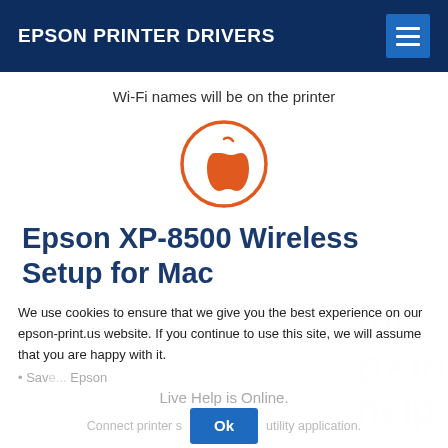EPSON PRINTER DRIVERS
Wi-Fi names will be on the printer
[Figure (logo): Apple logo in orange inside an orange circle outline]
Epson XP-8500 Wireless Setup for Mac
The instructions for setting up Mac Wi-Fi network on Epson XP-8500 printer are:
We use cookies to ensure that we give you the best experience on our epson-print.us website. If you continue to use this site, we will assume that you are happy with it.
Save... Epson
Live Help is Online.
Connect printer s...utility application.